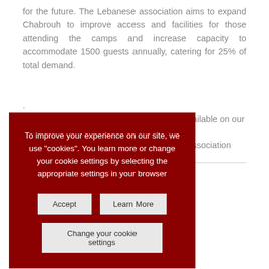for the future. The Lebanese association aims to expand Chabrouh to improve access and facilities for those attending the camps and increase capacity to accommodate 1500 guests annually, catering for 25% of total demand.
.
ailable on our
ssociation
[Figure (screenshot): Cookie consent overlay on a dark red background with text: 'To improve your experience on our site, we use "cookies". You learn more or change your cookie settings by selecting the appropriate settings in your browser', with buttons: Accept, Learn More, Change your cookie settings]